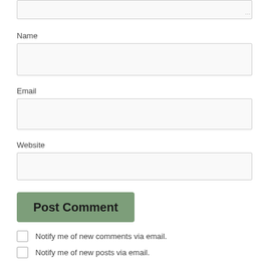[Figure (screenshot): Partial comment form showing top of a textarea with resize handle]
Name
[Figure (screenshot): Name text input field]
Email
[Figure (screenshot): Email text input field]
Website
[Figure (screenshot): Website text input field]
[Figure (screenshot): Post Comment button, green/sage colored]
Notify me of new comments via email.
Notify me of new posts via email.